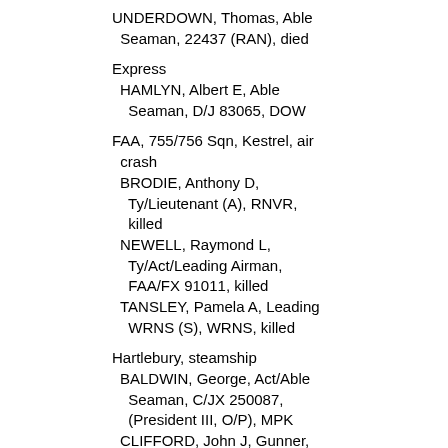UNDERDOWN, Thomas, Able Seaman, 22437 (RAN), died
Express
HAMLYN, Albert E, Able Seaman, D/J 83065, DOW
FAA, 755/756 Sqn, Kestrel, air crash
BRODIE, Anthony D, Ty/Lieutenant (A), RNVR, killed
NEWELL, Raymond L, Ty/Act/Leading Airman, FAA/FX 91011, killed
TANSLEY, Pamela A, Leading WRNS (S), WRNS, killed
Hartlebury, steamship
BALDWIN, George, Act/Able Seaman, C/JX 250087, (President III, O/P), MPK
CLIFFORD, John J, Gunner, RA, 4544392, (3/2 Maritime Regt, RA, O/P), killed
HARRIS, Sydney D, Act/Able Seaman, C/JX 268411, (President III, O/P), MPK
JENNINGS, Jack, Convoy Leading Signalmam, C/JX